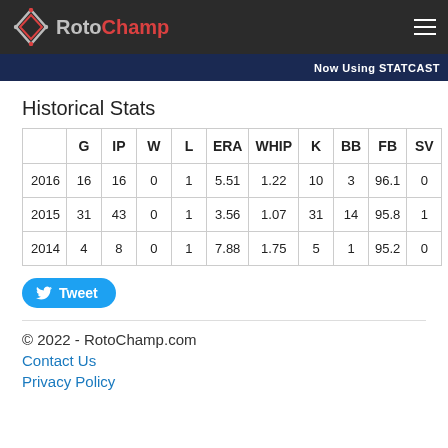RotoChamp
[Figure (photo): Blue banner strip with text 'Now Using STATCAST']
Historical Stats
|  | G | IP | W | L | ERA | WHIP | K | BB | FB | SV |
| --- | --- | --- | --- | --- | --- | --- | --- | --- | --- | --- |
| 2016 | 16 | 16 | 0 | 1 | 5.51 | 1.22 | 10 | 3 | 96.1 | 0 |
| 2015 | 31 | 43 | 0 | 1 | 3.56 | 1.07 | 31 | 14 | 95.8 | 1 |
| 2014 | 4 | 8 | 0 | 1 | 7.88 | 1.75 | 5 | 1 | 95.2 | 0 |
Tweet
© 2022 - RotoChamp.com
Contact Us
Privacy Policy